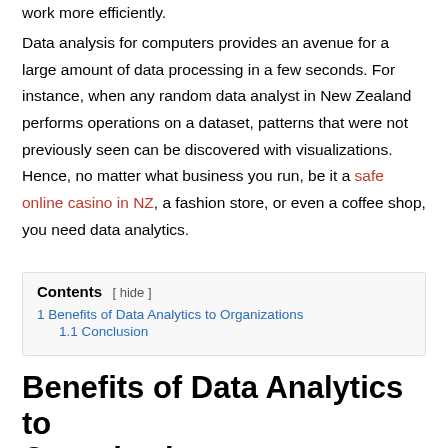work more efficiently.
Data analysis for computers provides an avenue for a large amount of data processing in a few seconds. For instance, when any random data analyst in New Zealand performs operations on a dataset, patterns that were not previously seen can be discovered with visualizations. Hence, no matter what business you run, be it a safe online casino in NZ, a fashion store, or even a coffee shop, you need data analytics.
1 Benefits of Data Analytics to Organizations
1.1 Conclusion
Benefits of Data Analytics to Organizations